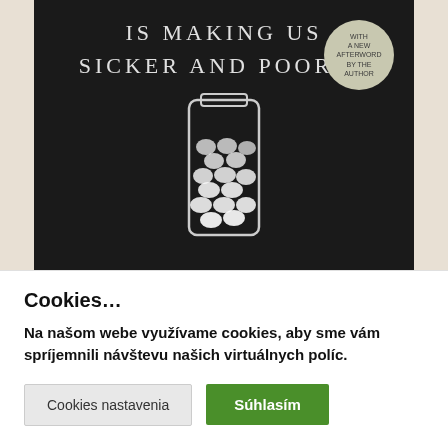[Figure (photo): Book cover photograph showing a dark background with text 'IS MAKING US SICKER AND POORER' and an illustration of a pill bottle filled with white pills/tablets. A circular badge in the upper right reads 'WITH A NEW AFTERWORD BY THE AUTHOR'.]
Cookies...
Na našom webe využívame cookies, aby sme vám spríjemnili návštevu našich virtuálnych políc.
Cookies nastavenia | Súhlasím